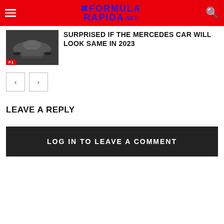FORMULA RAPIDA.NET
[Figure (photo): F1 Mercedes car, dark photo thumbnail with F1 badge]
SURPRISED IF THE MERCEDES CAR WILL LOOK SAME IN 2023
< >
LEAVE A REPLY
LOG IN TO LEAVE A COMMENT